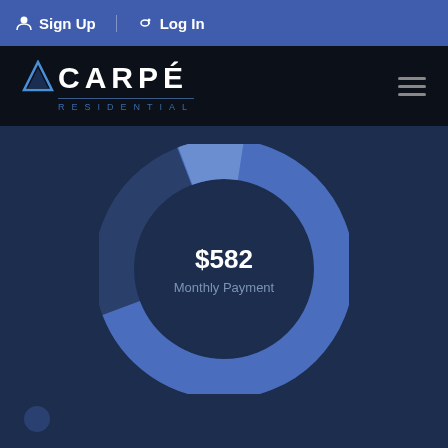Sign Up  Log In
[Figure (logo): Carpé Residential logo with blue arrow triangle icon, white uppercase text CARPÉ, subtitle RESIDENTIAL in blue spaced letters, on black background]
[Figure (donut-chart): Donut chart showing $582 Monthly Payment, blue donut ring on dark blue background with lighter blue segment]
Carpe Residential